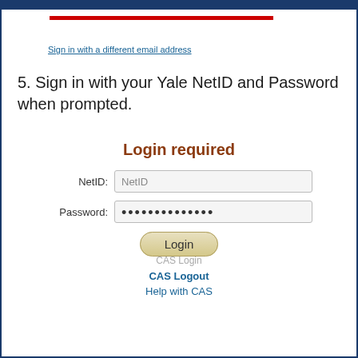Sign in with a different email address
5. Sign in with your Yale NetID and Password when prompted.
[Figure (screenshot): Yale CAS Login form showing 'Login required' heading in dark red/brown, a NetID text input field with placeholder 'NetID', a Password field filled with dots, and a Login button with rounded beige styling.]
CAS Login
CAS Logout
Help with CAS